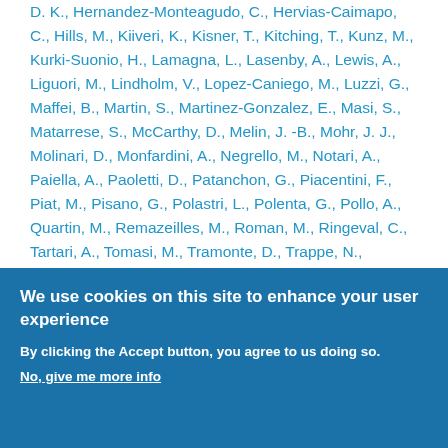D. K., Hernandez-Monteagudo, C., Hervias-Caimapo, C., Hills, M., Kiiveri, K., Kisner, T., Kitching, T., Kunz, M., Kurki-Suonio, H., Lamagna, L., Lasenby, A., Lewis, A., Liguori, M., Lindholm, V., Lopez-Caniego, M., Luzzi, G., Maffei, B., Martin, S., Martinez-Gonzalez, E., Masi, S., Matarrese, S., McCarthy, D., Melin, J. -B., Mohr, J. J., Molinari, D., Monfardini, A., Negrello, M., Notari, A., Paiella, A., Paoletti, D., Patanchon, G., Piacentini, F., Piat, M., Pisano, G., Polastri, L., Polenta, G., Pollo, A., Quartin, M., Remazeilles, M., Roman, M., Ringeval, C., Tartari, A., Tomasi, M., Tramonte, D., Trappe, N., Trombetti, T., Tucker, C., Valiviita, J., van de Weygaert, R., Van Tent, B., Vennin, V., Vermeulen, G., Vielva, P., Vittorio, N., Young, K., et Zannoni, M., Journal of Cosmology and Astroparticle Physics, vol. 2019, no 04, p. 017.
We use cookies on this site to enhance your user experience
By clicking the Accept button, you agree to us doing so.
No, give me more info